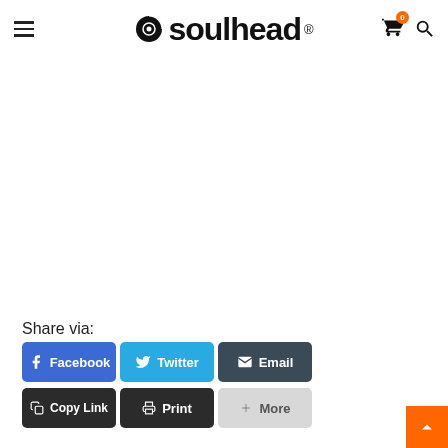soulhead
Share via:
Facebook
Twitter
Email
Copy Link
Print
More